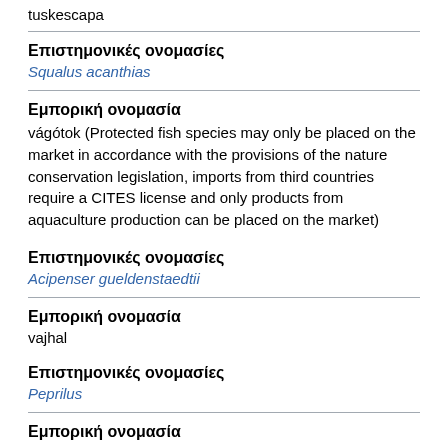tuskescapa
Επιστημονικές ονομασίες
Squalus acanthias
Εμπορική ονομασία
vágótok (Protected fish species may only be placed on the market in accordance with the provisions of the nature conservation legislation, imports from third countries require a CITES license and only products from aquaculture production can be placed on the market)
Επιστημονικές ονομασίες
Acipenser gueldenstaedtii
Εμπορική ονομασία
vajhal
Επιστημονικές ονομασίες
Peprilus
Εμπορική ονομασία